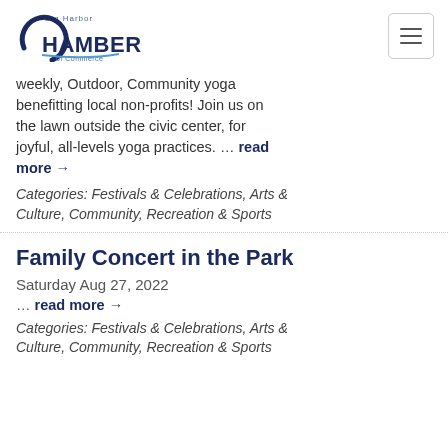Gig Harbor Chamber of Commerce
weekly, Outdoor, Community yoga benefitting local non-profits! Join us on the lawn outside the civic center, for joyful, all-levels yoga practices. … read more →
Categories: Festivals & Celebrations, Arts & Culture, Community, Recreation & Sports
Family Concert in the Park
Saturday Aug 27, 2022
… read more →
Categories: Festivals & Celebrations, Arts & Culture, Culture, Community, Recreation & Sports